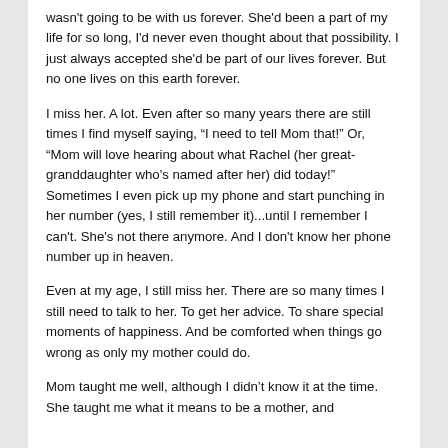wasn't going to be with us forever. She'd been a part of my life for so long, I'd never even thought about that possibility. I just always accepted she'd be part of our lives forever. But no one lives on this earth forever.
I miss her. A lot. Even after so many years there are still times I find myself saying, “I need to tell Mom that!” Or, “Mom will love hearing about what Rachel (her great-granddaughter who's named after her) did today!” Sometimes I even pick up my phone and start punching in her number (yes, I still remember it)...until I remember I can't. She's not there anymore. And I don't know her phone number up in heaven.
Even at my age, I still miss her. There are so many times I still need to talk to her. To get her advice. To share special moments of happiness. And be comforted when things go wrong as only my mother could do.
Mom taught me well, although I didn’t know it at the time. She taught me what it means to be a mother, and